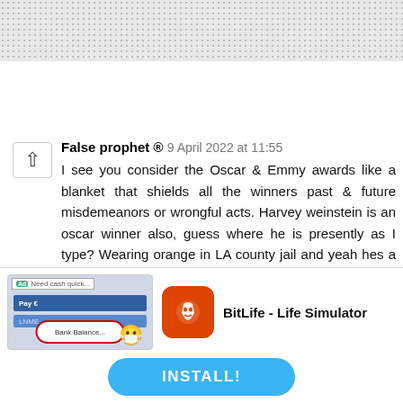False prophet ® 9 April 2022 at 11:55
I see you consider the Oscar & Emmy awards like a blanket that shields all the winners past & future misdemeanors or wrongful acts. Harvey weinstein is an oscar winner also, guess where he is presently as I type? Wearing orange in LA county jail and yeah hes a white man. Dont bring colour into it, black, white, Hispanic, IPOB etc we all condemned Wills conduct.
Anonymous 9 April 2022 at 12:22
Wait oo. Anon. Did you just insinuate that simps
[Figure (screenshot): Ad banner for BitLife - Life Simulator app with an INSTALL! button]